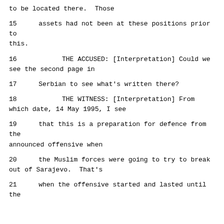to be located there.  Those
15     assets had not been at these positions prior to this.
16          THE ACCUSED: [Interpretation] Could we see the second page in
17     Serbian to see what's written there?
18          THE WITNESS: [Interpretation] From which date, 14 May 1995, I see
19     that this is a preparation for defence from the announced offensive when
20     the Muslim forces were going to try to break out of Sarajevo.  That's
21     when the offensive started and lasted until the